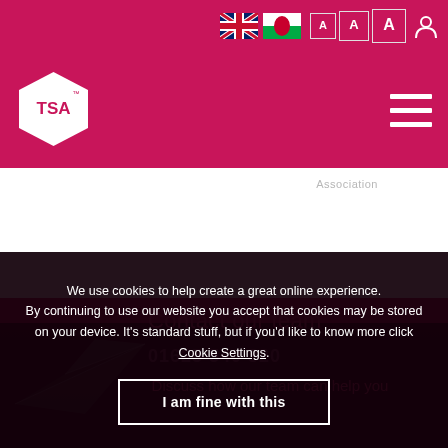TSA website header with UK and Wales flags, text size controls A A A, and user icon
[Figure (logo): TSA hexagonal logo in white on crimson background, with hamburger menu icon on right]
Association
[Figure (illustration): Dark paper airplane / origami bird illustration in lower left of footer area]
Contact our team
01625 540 320
Discuss how our team can help you
We use cookies to help create a great online experience. By continuing to use our website you accept that cookies may be stored on your device. It’s standard stuff, but if you’d like to know more click Cookie Settings.
I am fine with this